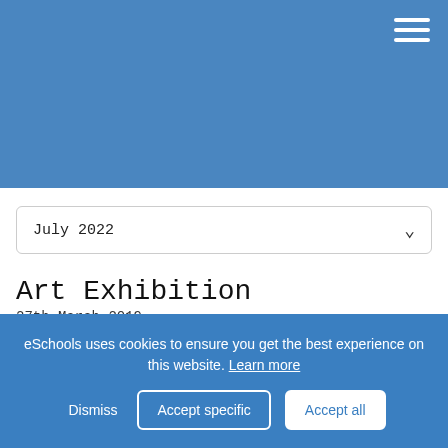[Figure (screenshot): Blue header banner area of a school website]
July 2022
Art Exhibition
27th March 2019
eSchools uses cookies to ensure you get the best experience on this website. Learn more
Dismiss  Accept specific  Accept all